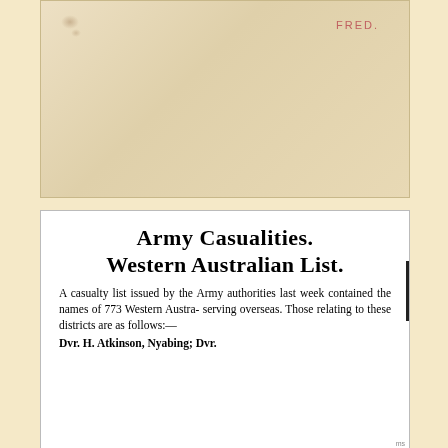[Figure (photo): Aged/yellowed document or card with faint brown stains in upper left corner, mostly blank, with the word FRED. printed in red/pink text near the upper right.]
Army Casualities.
Western Australian List.
A casualty list issued by the Army authorities last week contained the names of 773 Western Austra- serving overseas. Those relating to these districts are as follows:—
Dvr. H. Atkinson, Nyabing; Dvr.